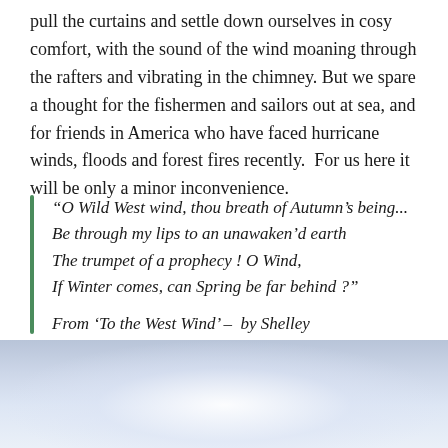pull the curtains and settle down ourselves in cosy comfort, with the sound of the wind moaning through the rafters and vibrating in the chimney. But we spare a thought for the fishermen and sailors out at sea, and for friends in America who have faced hurricane winds, floods and forest fires recently.  For us here it will be only a minor inconvenience.
“O Wild West wind, thou breath of Autumn’s being...
Be through my lips to an unawaken’d earth
The trumpet of a prophecy ! O Wind,
If Winter comes, can Spring be far behind ?”

From ‘To the West Wind’ –  by Shelley
[Figure (photo): A photograph of a pale overcast sky, light grey and white tones suggesting winter or stormy weather conditions.]